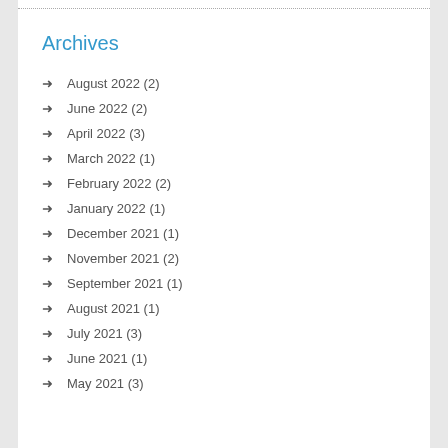Archives
August 2022 (2)
June 2022 (2)
April 2022 (3)
March 2022 (1)
February 2022 (2)
January 2022 (1)
December 2021 (1)
November 2021 (2)
September 2021 (1)
August 2021 (1)
July 2021 (3)
June 2021 (1)
May 2021 (3)